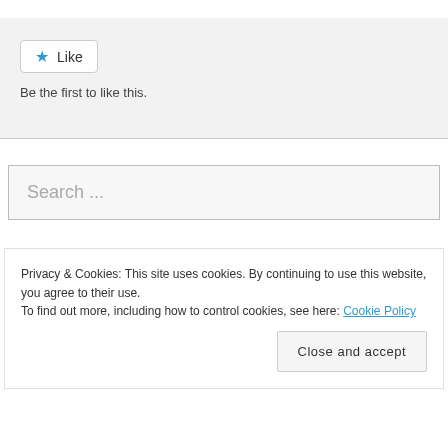[Figure (other): Like button widget with star icon and text 'Be the first to like this.']
Search ...
Privacy & Cookies: This site uses cookies. By continuing to use this website, you agree to their use.
To find out more, including how to control cookies, see here: Cookie Policy